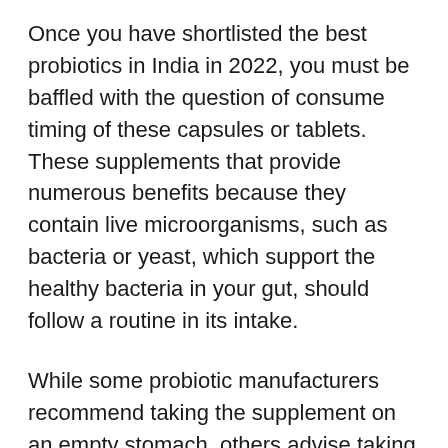Once you have shortlisted the best probiotics in India in 2022, you must be baffled with the question of consume timing of these capsules or tablets. These supplements that provide numerous benefits because they contain live microorganisms, such as bacteria or yeast, which support the healthy bacteria in your gut, should follow a routine in its intake.
While some probiotic manufacturers recommend taking the supplement on an empty stomach, others advise taking it with food. However, consistency is probably more important than whether you take your probiotic with or without food.
But then, most of the study suggests that